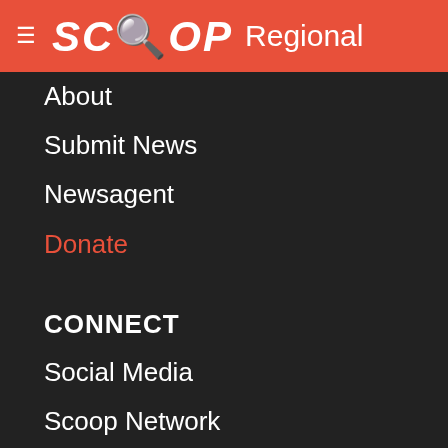SCOOP Regional
About
Submit News
Newsagent
Donate
CONNECT
Social Media
Scoop Network
Scoop Foundation
Next Election NZ
Complaints Policy
SCOOP PRO
Licensed Orgs.
About Scoop Pro
Apply for a license
Terms of Use